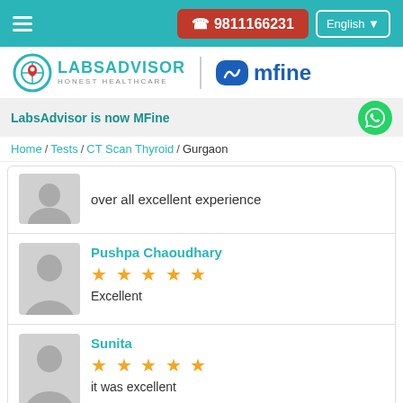☎ 9811166231 | English
[Figure (logo): LabsAdvisor Honest Healthcare logo and MFine logo]
LabsAdvisor is now MFine
Home / Tests / CT Scan Thyroid / Gurgaon
over all excellent experience
Pushpa Chaoudhary
★★★★★
Excellent
Sunita
★★★★★
it was excellent